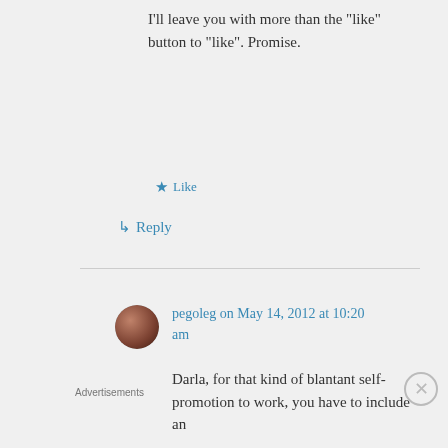I'll leave you with more than the “like” button to “like”. Promise.
★ Like
↳ Reply
pegoleg on May 14, 2012 at 10:20 am
Darla, for that kind of blantant self-promotion to work, you have to include an
Advertisements